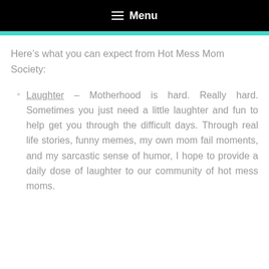Menu
Here’s what you can expect from Hot Mess Mom Society:
Laughter – Motherhood is hard. Really hard. Sometimes you just need a little laughter and fun to help get you through the difficult days. Through real life stories, funny memes, my own mom fail moments, and my sarcastic sense of humor, I hope to provide a daily dose of laughter to our community of hot mess moms.